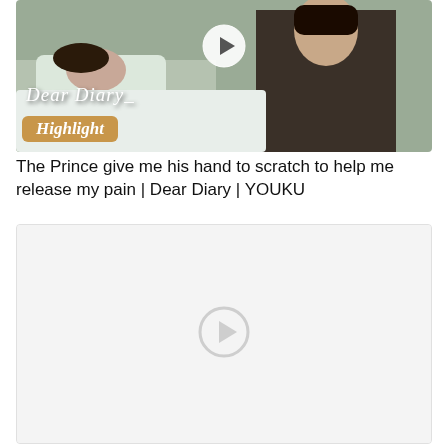[Figure (screenshot): Video thumbnail showing a hospital scene with a man in dark jacket holding hands with a patient lying in bed. Overlaid text reads 'Dear Diary' in cursive script and 'Highlight' in italic. A white circular play button icon is centered on the thumbnail.]
The Prince give me his hand to scratch to help me release my pain | Dear Diary | YOUKU
[Figure (screenshot): Second video thumbnail placeholder with light gray/white background and a faint circular play button icon centered on it.]